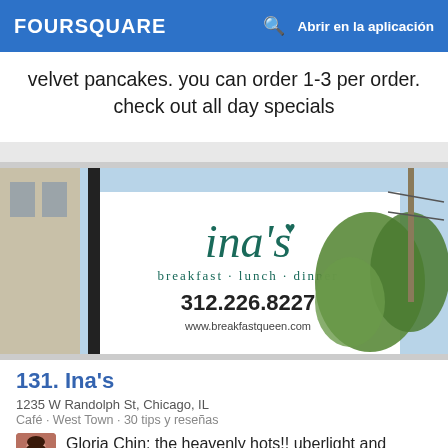FOURSQUARE   Abrir en la aplicación
velvet pancakes. you can order 1-3 per order. check out all day specials
[Figure (photo): Exterior photo of Ina's restaurant sign reading 'ina's breakfast - lunch - dinner 312.226.8227 www.breakfastqueen.com' with trees and sky in background]
131. Ina's
1235 W Randolph St, Chicago, IL
Café · West Town · 30 tips y reseñas
Gloria Chin: the heavenly hots!! uberlight and creamy pancakes—